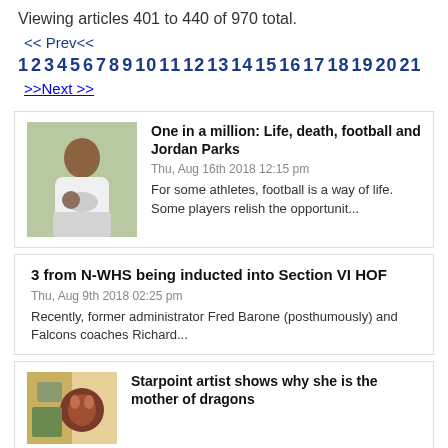Viewing articles 401 to 440 of 970 total.
<< Prev<<
1 2 3 4 5 6 7 8 9 10 11 12 13 14 15 16 17 18 19 20 21
>>Next >>
One in a million: Life, death, football and Jordan Parks
Thu, Aug 16th 2018 12:15 pm
For some athletes, football is a way of life. Some players relish the opportunit…
3 from N-WHS being inducted into Section VI HOF
Thu, Aug 9th 2018 02:25 pm
Recently, former administrator Fred Barone (posthumously) and Falcons coaches Richard…
Starpoint artist shows why she is the mother of dragons